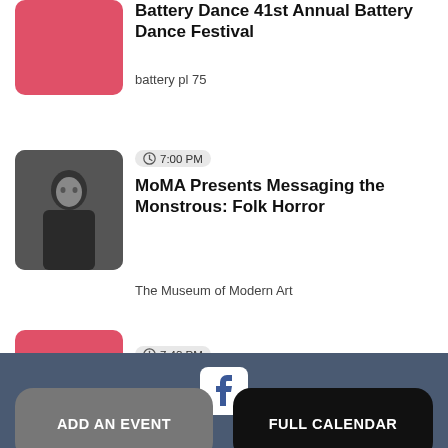[Figure (illustration): Red/pink rounded rectangle placeholder image for Battery Dance event]
Battery Dance 41st Annual Battery Dance Festival
battery pl 75
[Figure (photo): Photo of a person with dark hair, appears to be a performance or film still]
7:00 PM
MoMA Presents Messaging the Monstrous: Folk Horror
The Museum of Modern Art
[Figure (illustration): Red/pink rounded rectangle partial image for third event]
7:43 PM
Next events ▶
ADD AN EVENT
FULL CALENDAR
[Figure (logo): Facebook logo icon on blue-grey footer bar]